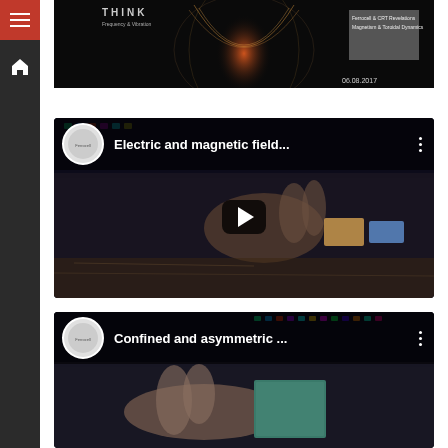[Figure (screenshot): YouTube video thumbnail: THINK logo, Frequency and Vibration / Ferrocell & CRT Revelations Magnetism & Toroidal Dynamics, dated 06.08.2017, showing toroidal magnetic field visualization]
[Figure (screenshot): YouTube video embed: 'Electric and magnetic field...' with channel icon, play button, dark background showing hands on table with colored cards]
[Figure (screenshot): YouTube video embed: 'Confined and asymmetric ...' with channel icon, dark background showing hand holding green/teal card]